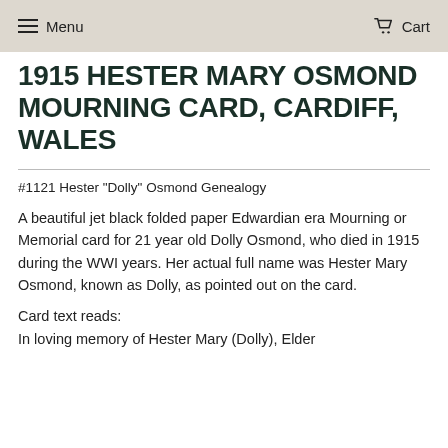Menu   Cart
1915 HESTER MARY OSMOND MOURNING CARD, CARDIFF, WALES
#1121 Hester "Dolly" Osmond Genealogy
A beautiful jet black folded paper Edwardian era Mourning or Memorial card for 21 year old Dolly Osmond, who died in 1915 during the WWI years. Her actual full name was Hester Mary Osmond, known as Dolly, as pointed out on the card.
Card text reads:
In loving memory of Hester Mary (Dolly), Elder